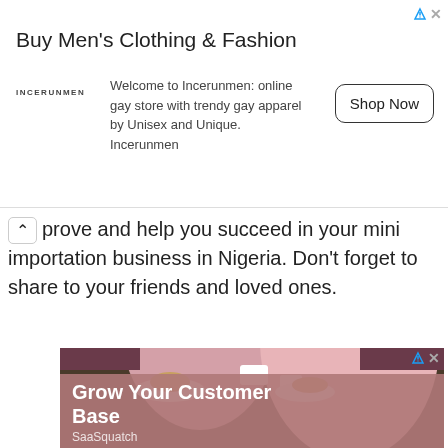[Figure (screenshot): Top advertisement banner for Incerunmen clothing store. Shows logo, headline 'Buy Men's Clothing & Fashion', body text 'Welcome to Incerunmen: online gay store with trendy gay apparel by Unisex and Unique. Incerunmen', and a 'Shop Now' button.]
prove and help you succeed in your mini importation business in Nigeria. Don't forget to share to your friends and loved ones.
[Figure (photo): Advertisement featuring two women sitting at a cafe table, one with dark curly hair and glasses using a phone, one with blonde hair in pink outfit. Overlay text reads 'Grow Your Customer Base' with brand 'SaaSquatch'.]